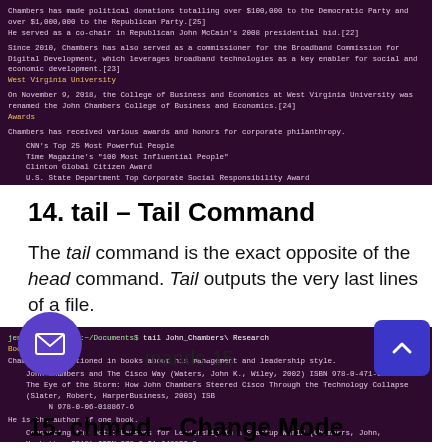[Figure (screenshot): Terminal screenshot showing Wikipedia content about John Chambers — political donations, Republican Party, Broadband Commission, West Virginia University college naming, awards list including CNN Top 25 Most Powerful People, Time Magazine 100 Most Influential People, Clinton Global Citizen Award, U.S. State Department awards, Woodrow Wilson Award, Silicon Valley Education Foundation award, Franklin Institute Bower Award, Harvard Business Review 100 Best-Performing CEOs, Edison Achievement Award. Section header: Compensation.]
14. tail – Tail Command
The tail command is the exact opposite of the head command. Tail outputs the very last lines of a file.
[Figure (screenshot): Terminal screenshot showing output of 'tail John_Chambers\ Research' command. Shows Books section: Chambers is mentioned in books about his management and leadership style. Lists: John Chambers and The Cisco Way (Waters, John K., Wiley, 2002) ISBN 978-0-471-00033-8, The Eye of the Storm: How John Chambers Steered Cisco Through the Technology Collapse (Slater, Robert, HarperBusiness, 2003) ISBN 978-0-06-018867-6. He is the author of one book. Connecting the Dots: Lessons for Leadership in a Startup World (Chambers, John, Hachette, 2018) ISBN 978-0-31-648850-5]
mands-15
15. chmod – Change Mode